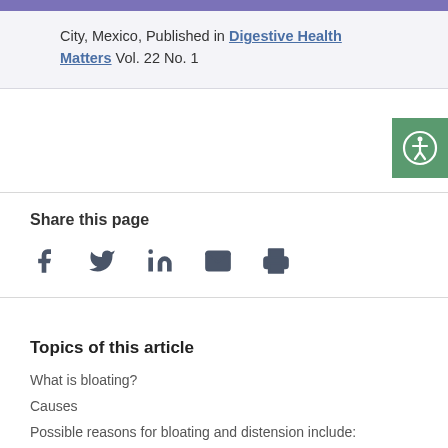City, Mexico, Published in Digestive Health Matters Vol. 22 No. 1
[Figure (other): Green accessibility icon button with person/wheelchair symbol]
Share this page
[Figure (infographic): Social share icons: Facebook, Twitter, LinkedIn, Email, Print]
Topics of this article
What is bloating?
Causes
Possible reasons for bloating and distension include: